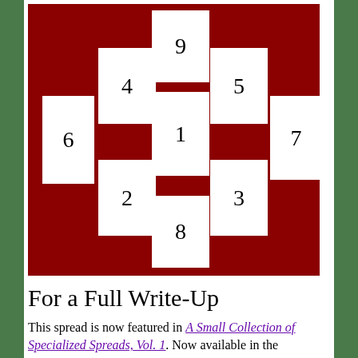[Figure (schematic): A tarot card spread diagram showing 9 numbered card positions (1-9) arranged on a dark red background. Cards are positioned in a cross/tree pattern: card 9 at top center, cards 4 and 5 flanking upper middle, cards 6 and 7 on far left and right, card 1 in center, cards 2 and 3 flanking lower middle, and card 8 at bottom center.]
For a Full Write-Up
This spread is now featured in A Small Collection of Specialized Spreads, Vol. 1. Now available in the Amazon online shop!